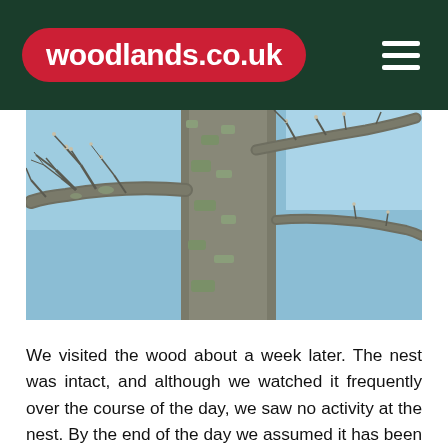woodlands.co.uk
[Figure (photo): Looking up at the bare branches of a large tree against a blue sky, with lichen-covered bark and small winter buds on the twigs.]
We visited the wood about a week later. The nest was intact, and although we watched it frequently over the course of the day, we saw no activity at the nest. By the end of the day we assumed it has been abandoned. Whether or not this was the case we won't know, but on our next visit the nest was hanging forlornly from the